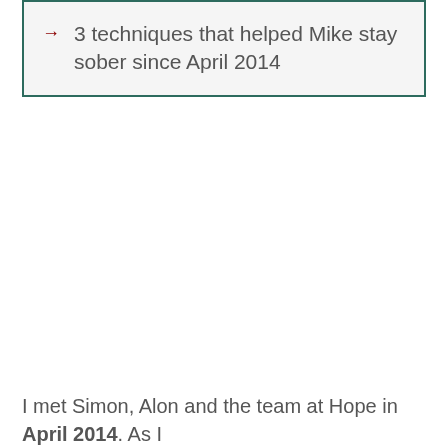3 techniques that helped Mike stay sober since April 2014
I met Simon, Alon and the team at Hope in April 2014. As I